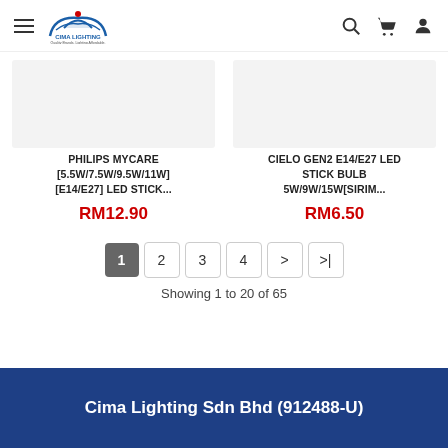Cima Lighting — navigation header with logo, hamburger menu, search, cart, and user icons
[Figure (photo): Product image placeholder for PHILIPS MYCARE LED stick bulb — light grey rectangle]
PHILIPS MYCARE [5.5W/7.5W/9.5W/11W] [E14/E27] LED STICK...
RM12.90
[Figure (photo): Product image placeholder for CIELO GEN2 E14/E27 LED stick bulb — light grey rectangle]
CIELO GEN2 E14/E27 LED STICK BULB 5W/9W/15W[SIRIM...
RM6.50
1 2 3 4 > >|
Showing 1 to 20 of 65
Cima Lighting Sdn Bhd (912488-U)